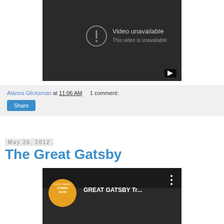[Figure (screenshot): YouTube video unavailable placeholder - dark background with exclamation icon and 'Video unavailable / This video is unavailable' text, with YouTube play button in bottom right corner]
Alanna Glicksman at 11:06 AM    1 comment:
Share
May 26, 2012
The Great Gatsby
[Figure (screenshot): YouTube video thumbnail showing 'GREAT GATSBY Tr...' with Coming Soon badge (orange circle) on the left and three-dot menu on the right]